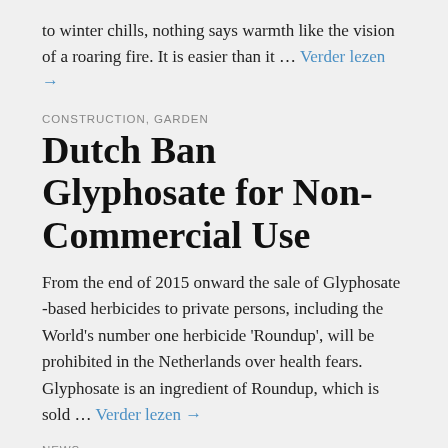to winter chills, nothing says warmth like the vision of a roaring fire. It is easier than it … Verder lezen →
CONSTRUCTION, GARDEN
Dutch Ban Glyphosate for Non-Commercial Use
From the end of 2015 onward the sale of Glyphosate -based herbicides to private persons, including the World's number one herbicide 'Roundup', will be prohibited in the Netherlands over health fears. Glyphosate is an ingredient of Roundup, which is sold … Verder lezen →
NEWS
What can I grow in (partial) shade?